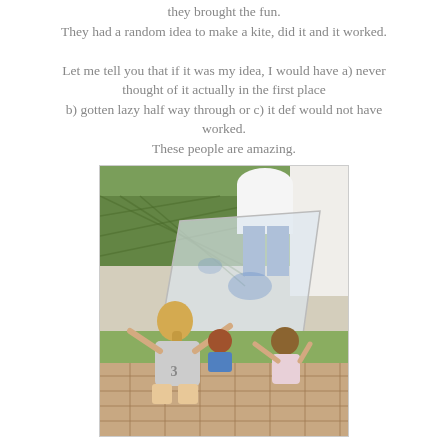they brought the fun.
They had a random idea to make a kite, did it and it worked.

Let me tell you that if it was my idea, I would have a) never thought of it actually in the first place
b) gotten lazy half way through or c) it def would not have worked.
These people are amazing.
[Figure (photo): Outdoor photo of children and an adult making a kite. A blonde girl in a grey shirt sits on a brick patio holding a large transparent plastic kite material. A small girl in a floral dress sits across from her holding the other side. Another child in blue sits in the background. An adult in white top and jeans stands behind them. Greenery and a lattice fence are visible in the background.]